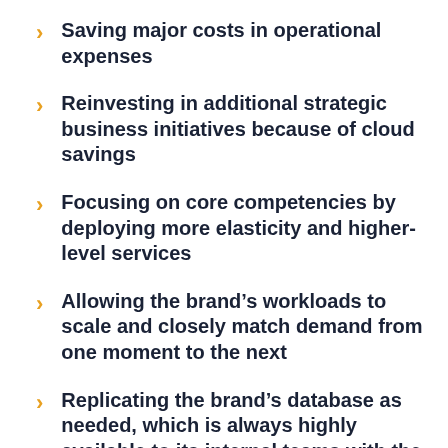Saving major costs in operational expenses
Reinvesting in additional strategic business initiatives because of cloud savings
Focusing on core competencies by deploying more elasticity and higher-level services
Allowing the brand's workloads to scale and closely match demand from one moment to the next
Replicating the brand's database as needed, which is always highly available to its internal teams with the appropriate